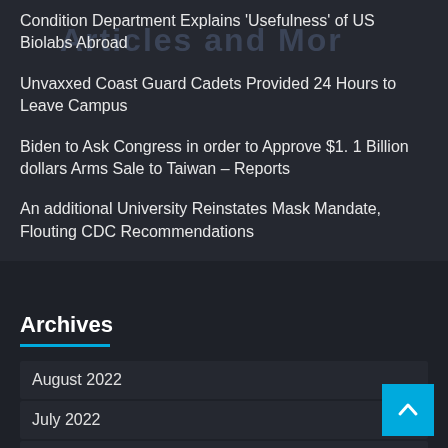Condition Department Explains 'Usefulness' of US Biolabs Abroad
Unvaxxed Coast Guard Cadets Provided 24 Hours to Leave Campus
Biden to Ask Congress in order to Approve $1. 1 Billion dollars Arms Sale to Taiwan – Reports
An additional University Reinstates Mask Mandate, Flouting CDC Recommendations
Archives
August 2022
July 2022
June 2022
May 2022